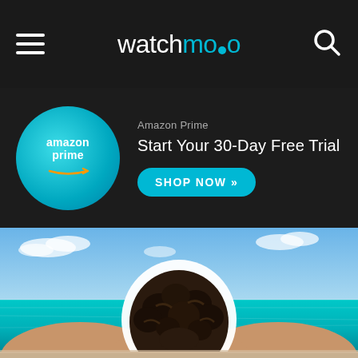watchmojo
[Figure (infographic): Amazon Prime advertisement banner with circular Amazon Prime logo badge and call-to-action text: 'Amazon Prime / Start Your 30-Day Free Trial' with a 'SHOP NOW »' button]
[Figure (photo): Person lying on a beach chair viewed from behind, looking at a turquoise Caribbean sea and blue sky with white clouds. The person's head has a white glowing outline effect.]